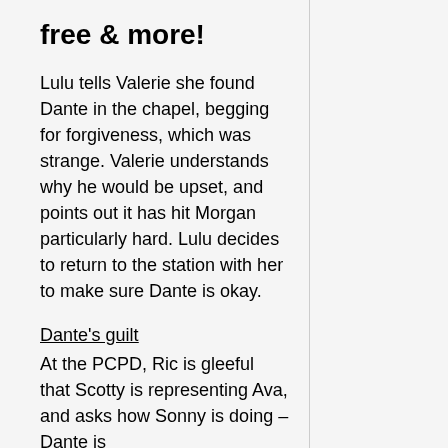free & more!
Lulu tells Valerie she found Dante in the chapel, begging for forgiveness, which was strange. Valerie understands why he would be upset, and points out it has hit Morgan particularly hard. Lulu decides to return to the station with her to make sure Dante is okay.
Dante’s guilt
At the PCPD, Ric is gleeful that Scotty is representing Ava, and asks how Sonny is doing – Dante is